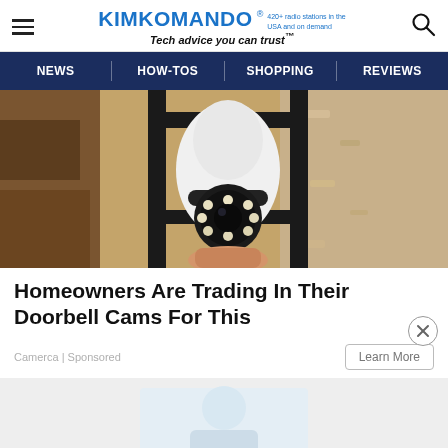KIMKOMANDO® 420+ radio stations in the USA and on demand — Tech advice you can trust™
NEWS | HOW-TOS | SHOPPING | REVIEWS
[Figure (photo): Security camera resembling a light bulb mounted on an outdoor light fixture bracket against a stucco wall]
Homeowners Are Trading In Their Doorbell Cams For This
Camerca | Sponsored
Learn More
[Figure (photo): Partially visible second image, light gray and blue tones, appears to show a person or interior scene]